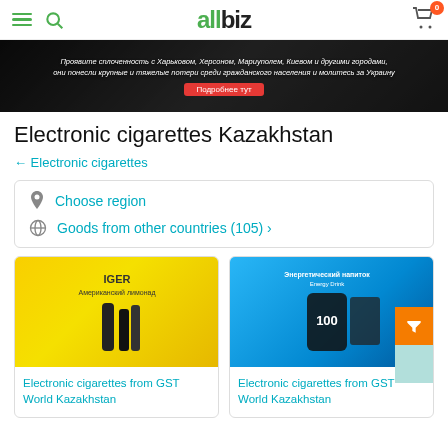allbiz — navigation header with hamburger menu, search icon, logo, cart
[Figure (photo): Dark banner with Russian text: 'Проявите сплоченность с Харьковом, Херсоном, Мариуполем, Киевом и другими городами, они понесли крупные и тяжелые потери среди гражданского населения и молитесь за Украину' with red button 'Подробнее тут']
Electronic cigarettes Kazakhstan
← Electronic cigarettes
Choose region
Goods from other countries (105) ›
[Figure (photo): Product image: IGER electronic cigarette with yellow background (Американский лимонад flavor)]
Electronic cigarettes from GST World Kazakhstan
[Figure (photo): Product image: Electronic cigarette with blue background, Energy Drink flavor, showing device and packaging]
Electronic cigarettes from GST World Kazakhstan